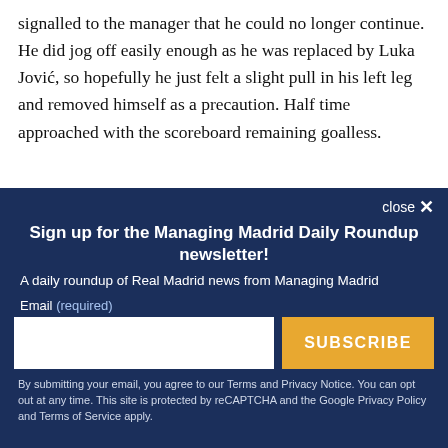signalled to the manager that he could no longer continue. He did jog off easily enough as he was replaced by Luka Jović, so hopefully he just felt a slight pull in his left leg and removed himself as a precaution. Half time approached with the scoreboard remaining goalless.
close ×
Sign up for the Managing Madrid Daily Roundup newsletter!
A daily roundup of Real Madrid news from Managing Madrid
Email (required)
SUBSCRIBE
By submitting your email, you agree to our Terms and Privacy Notice. You can opt out at any time. This site is protected by reCAPTCHA and the Google Privacy Policy and Terms of Service apply.